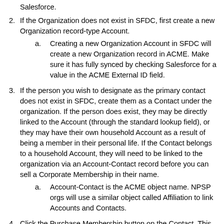Salesforce.
If the Organization does not exist in SFDC, first create a new Organization record-type Account.
Creating a new Organization Account in SFDC will create a new Organization record in ACME. Make sure it has fully synced by checking Salesforce for a value in the ACME External ID field.
If the person you wish to designate as the primary contact does not exist in SFDC, create them as a Contact under the organization. If the person does exist, they may be directly linked to the Account (through the standard lookup field), or they may have their own household Account as a result of being a member in their personal life. If the Contact belongs to a household Account, they will need to be linked to the organization via an Account-Contact record before you can sell a Corporate Membership in their name.
Account-Contact is the ACME object name. NPSP orgs will use a similar object called Affiliation to link Accounts and Contacts.
Click the Purchase Membership button on the Contact. This kicks off the Visualforce flow, which will default the first screen to the selected Contact and their primary Account. If